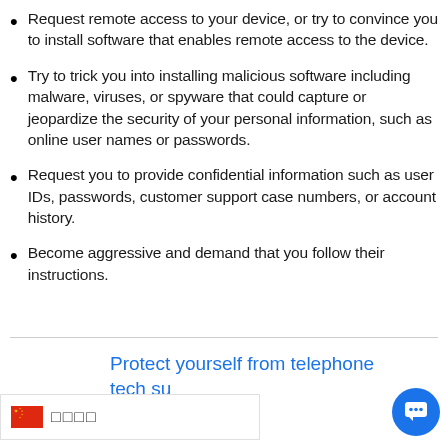Request remote access to your device, or try to convince you to install software that enables remote access to the device.
Try to trick you into installing malicious software including malware, viruses, or spyware that could capture or jeopardize the security of your personal information, such as online user names or passwords.
Request you to provide confidential information such as user IDs, passwords, customer support case numbers, or account history.
Become aggressive and demand that you follow their instructions.
Protect yourself from telephone tech su... mers